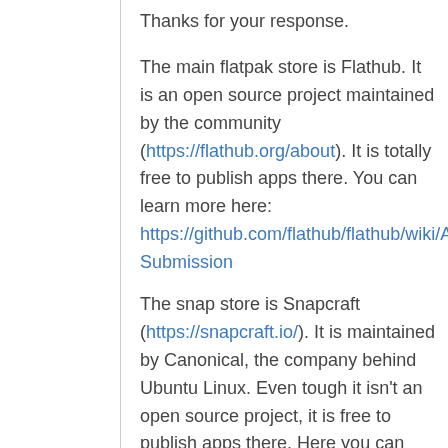Thanks for your response.
The main flatpak store is Flathub. It is an open source project maintained by the community (https://flathub.org/about). It is totally free to publish apps there. You can learn more here: https://github.com/flathub/flathub/wiki/App-Submission
The snap store is Snapcraft (https://snapcraft.io/). It is maintained by Canonical, the company behind Ubuntu Linux. Even tough it isn't an open source project, it is free to publish apps there. Here you can find how to publish an app to Snapcraft: https://snapcraft.io/docs